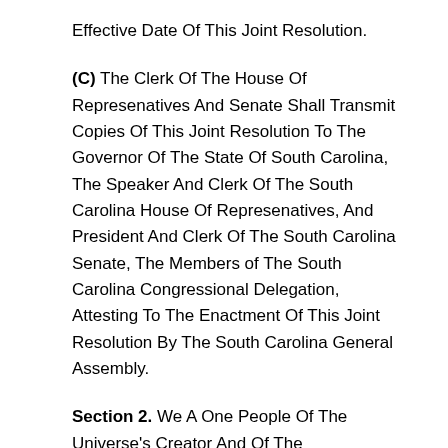Effective Date Of This Joint Resolution.
(C) The Clerk Of The House Of Represenatives And Senate Shall Transmit Copies Of This Joint Resolution To The Governor Of The State Of South Carolina, The Speaker And Clerk Of The South Carolina House Of Represenatives, And President And Clerk Of The South Carolina Senate, The Members of The South Carolina Congressional Delegation, Attesting To The Enactment Of This Joint Resolution By The South Carolina General Assembly.
Section 2. We A One People Of The Universe's Creator And Of The Constitution Of The State Of South Carolina Adopts This Application Expressly